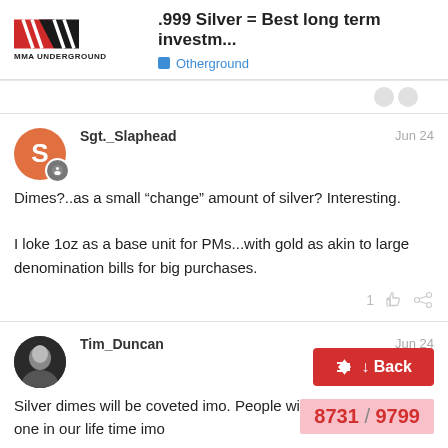.999 Silver = Best long term investm... | Otherground | MMA Underground
Sgt._Slaphead — Jun 24
Dimes?..as a small “change” amount of silver? Interesting.

I loke 1oz as a base unit for PMs...with gold as akin to large denomination bills for big purchases.
Tim_Duncan — Jun 24
Silver dimes will be coveted imo. People will work all day for one in our life time imo